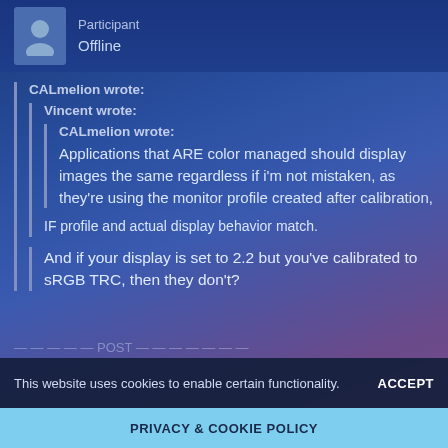Participant
Offline
CALmelion wrote:
  Vincent wrote:
    CALmelion wrote:
    Applications that ARE color managed should display images the same regardless if i'm not mistaken, as they're using the monitor profile created after calibration,
    IF profile and actual display behavior match.
  And if your display is set to 2.2 but you've calibrated to sRGB TRC, then they don't?
This website uses cookies to enable certain functionality. ACCEPT
PRIVACY & COOKIE POLICY